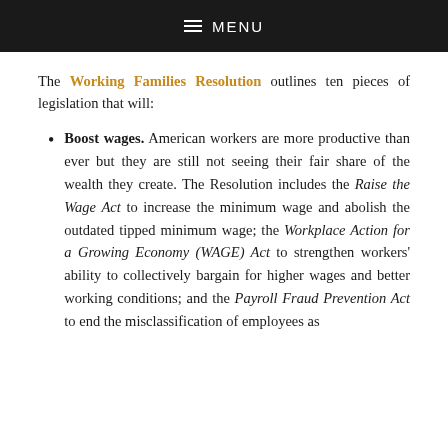MENU
The Working Families Resolution outlines ten pieces of legislation that will:
Boost wages. American workers are more productive than ever but they are still not seeing their fair share of the wealth they create. The Resolution includes the Raise the Wage Act to increase the minimum wage and abolish the outdated tipped minimum wage; the Workplace Action for a Growing Economy (WAGE) Act to strengthen workers' ability to collectively bargain for higher wages and better working conditions; and the Payroll Fraud Prevention Act to end the misclassification of employees as